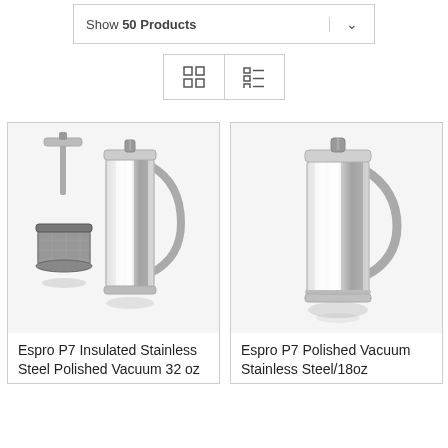Show 50 Products
[Figure (screenshot): View toggle buttons: grid view and list view icons]
[Figure (photo): Espro P7 Insulated Stainless Steel Polished Vacuum 32 oz French press product photo showing disassembled and assembled views]
Espro P7 Insulated Stainless Steel Polished Vacuum 32 oz
[Figure (photo): Espro P7 Polished Vacuum Stainless Steel/18oz French press product photo]
Espro P7 Polished Vacuum Stainless Steel/18oz